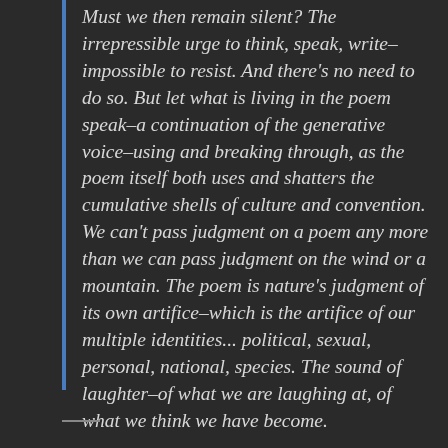Must we then remain silent? The irrepressible urge to think, speak, write–impossible to resist. And there's no need to do so. But let what is living in the poem speak–a continuation of the generative voice–using and breaking through, as the poem itself both uses and shatters the cumulative shells of culture and convention. We can't pass judgment on a poem any more than we can pass judgment on the wind or a mountain. The poem is nature's judgment of its own artifice–which is the artifice of our multiple identities... political, sexual, personal, national, species. The sound of laughter–of what we are laughing at, of what we think we have become.